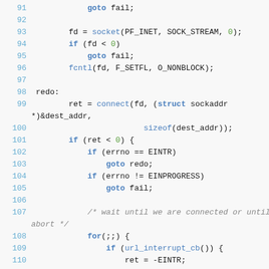[Figure (screenshot): Source code listing in C, lines 91-113, showing socket connection code with syntax highlighting. Line numbers in blue on left, keywords and function names in blue, numeric literals in green, comments in gray italic.]